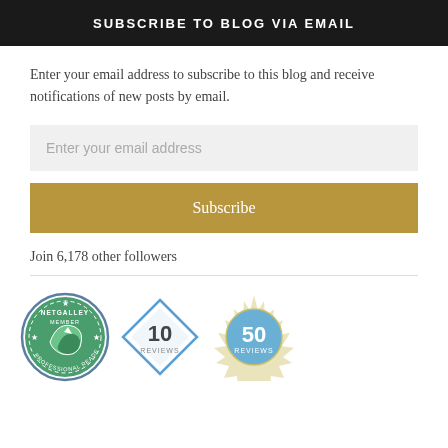SUBSCRIBE TO BLOG VIA EMAIL
Enter your email address to subscribe to this blog and receive notifications of new posts by email.
Enter your email address
Subscribe
Join 6,178 other followers
[Figure (logo): Three badges: NetGalley Member Professional Reader circular badge, a diamond-shaped '10 REVIEWS' badge, and a decorative circular '50 REVIEWS' badge]